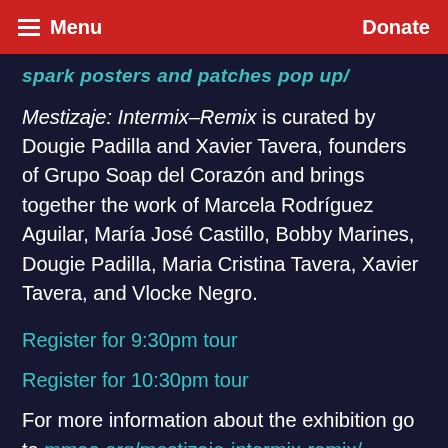Menu | Donate
spark posters and patches pop up/
Mestizaje: Intermix-Remix is curated by Dougie Padilla and Xavier Tavera, founders of Grupo Soap del Corazón and brings together the work of Marcela Rodríguez Aguilar, María José Castillo, Bobby Marines, Dougie Padilla, Maria Cristina Tavera, Xavier Tavera, and Vlocke Negro.
Register for 9:30pm tour
Register for 10:30pm tour
For more information about the exhibition go to mmaa.org/mestizaje-intermix-remix/.